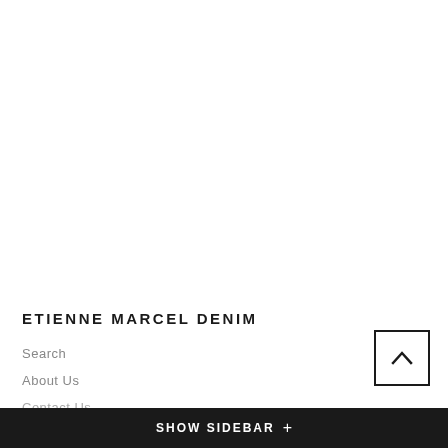ETIENNE MARCEL DENIM
Search
About Us
Contact Us
Privacy Policy
SHOW SIDEBAR +